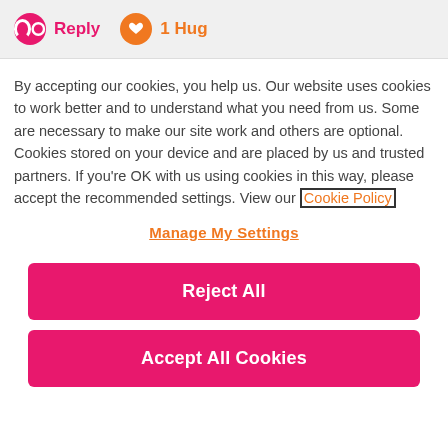[Figure (screenshot): Top bar with Reply button (pink circle icon) and 1 Hug button (orange circle with heart icon)]
By accepting our cookies, you help us. Our website uses cookies to work better and to understand what you need from us. Some are necessary to make our site work and others are optional. Cookies stored on your device and are placed by us and trusted partners. If you're OK with us using cookies in this way, please accept the recommended settings. View our Cookie Policy
Manage My Settings
Reject All
Accept All Cookies